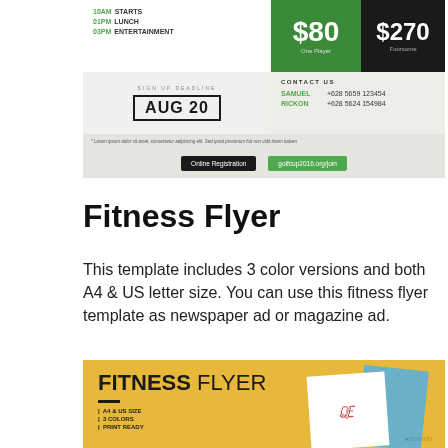[Figure (illustration): Golf tournament event flyer showing schedule (10AM Starts, 01PM Lunch, 03PM Entertainment), pricing ($80 One Player, $270 Foursome), sign up deadline AUG 20, contact info for Samuel and Rickon, online registration buttons, and Envato watermarks.]
Fitness Flyer
This template includes 3 color versions and both A4 & US letter size. You can use this fitness flyer template as newspaper ad or magazine ad.
[Figure (illustration): Fitness Flyer template preview on yellow/golden background showing FITNESS FLYER title, decorative dash, bullet list: A4 & US SIZE, 3 COLORS, PRINT READY, with a white card mockup, blue card, and Envato watermark.]